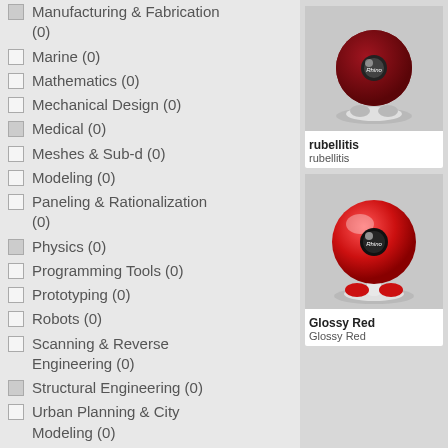Manufacturing & Fabrication (0)
Marine (0)
Mathematics (0)
Mechanical Design (0)
Medical (0)
Meshes & Sub-d (0)
Modeling (0)
Paneling & Rationalization (0)
Physics (0)
Programming Tools (0)
Prototyping (0)
Robots (0)
Scanning & Reverse Engineering (0)
Structural Engineering (0)
Urban Planning & City Modeling (0)
Viewers (0)
COLOR
[Figure (photo): Dark red/maroon 3D rendered robot-like figure on grey background - rubellitis material]
rubellitis
rubellitis
[Figure (photo): Bright red glossy 3D rendered robot-like figure on grey background - Glossy Red material]
Glossy Red
Glossy Red